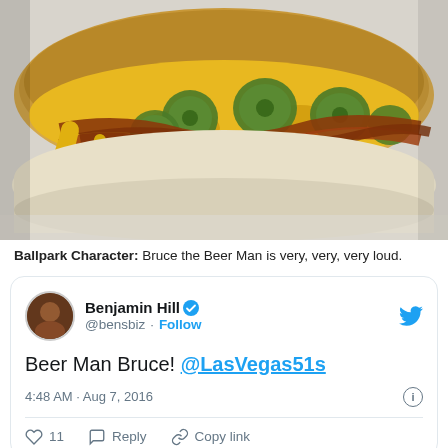[Figure (photo): Close-up photo of a hot dog in a white bun topped with melted cheese sauce, bacon strips, and sliced jalapeño peppers, served in white paper wrapping]
Ballpark Character: Bruce the Beer Man is very, very, very loud.
Benjamin Hill @bensbiz · Follow
Beer Man Bruce! @LasVegas51s
4:48 AM · Aug 7, 2016
11 Reply Copy link